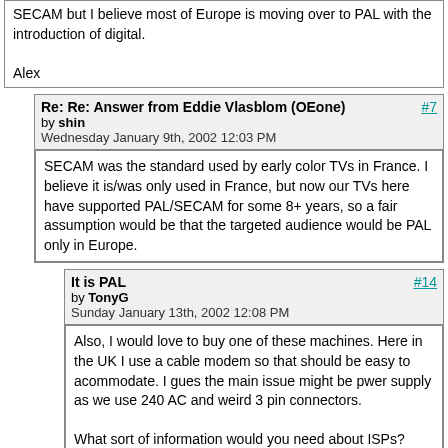SECAM but I believe most of Europe is moving over to PAL with the introduction of digital.

Alex
Re: Re: Answer from Eddie Vlasblom (OEone)
by shin
Wednesday January 9th, 2002 12:03 PM
#7
SECAM was the standard used by early color TVs in France. I believe it is/was only used in France, but now our TVs here have supported PAL/SECAM for some 8+ years, so a fair assumption would be that the targeted audience would be PAL only in Europe.
It is PAL
by TonyG
Sunday January 13th, 2002 12:08 PM
#14
Also, I would love to buy one of these machines. Here in the UK I use a cable modem so that should be easy to acommodate. I gues the main issue might be pwer supply as we use 240 AC and weird 3 pin connectors.

What sort of information would you need about ISPs?
Cool
#2